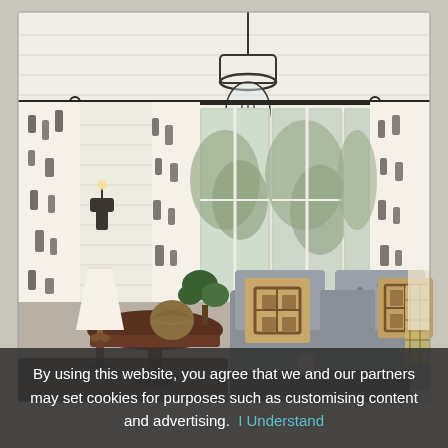[Figure (photo): Interior living room photo showing a bright, airy space with shiplap walls, tall windows with curtains featuring a dark leaf/fern pattern, a glass globe pendant light hanging from the ceiling, a tufted gray sofa with geometric patterned throw pillows, a round dark wood side table with a white table lamp and decorative objects, and a plaid throw blanket draped over the sofa arm.]
By using this website, you agree that we and our partners may set cookies for purposes such as customising content and advertising.  I Understand